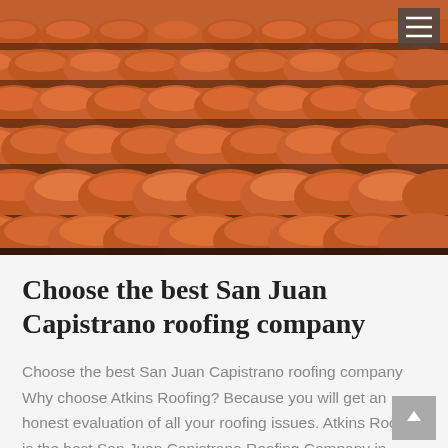[Figure (photo): Close-up photo of terracotta/clay barrel roof tiles in reddish-brown color, arranged in overlapping rows, photographed at an angle with dark shadows between rows.]
Choose the best San Juan Capistrano roofing company
Choose the best San Juan Capistrano roofing company Why choose Atkins Roofing? Because you will get an honest evaluation of all your roofing issues. Atkins Roofing is the best San Juan Capistrano Roofing Company in Orange County CA